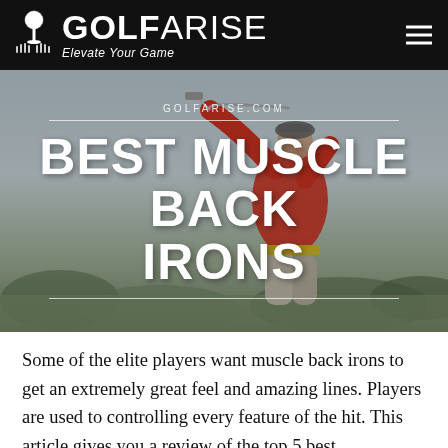GOLF ARISE — Elevate Your Game
[Figure (photo): Hero image of a golfer in a red jacket mid-swing on a golf course, with overlaid text 'BEST MUSCLE BACK IRONS' and watermark 'GOLFARISE.COM']
Some of the elite players want muscle back irons to get an extremely great feel and amazing lines. Players are used to controlling every feature of the hit. This article gives you a review of the top 5 best